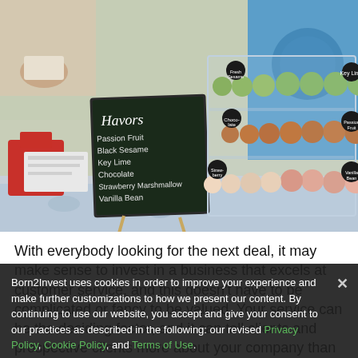[Figure (photo): Photo of a macaron display at a market or bakery stand. A clear acrylic tiered display case holds rows of colorful macarons in green, brown/chocolate, pink, and vanilla/white colors. A chalkboard sign reads 'Flavors' with listed flavors: Passion Fruit, Black Sesame, Key Lime, Chocolate, Strawberry Marshmallow, Vanilla Bean. People in blue shirts are visible in the background.]
With everybody looking for the next deal, it may make sense to invest in a business that excels at customer service, and this doesn't have to be complicated or fancy to be valued. Your service can be the deciding factor, and it can tell clients and prospective clients more about your company than you might think.
The quality of your service or product
Born2Invest uses cookies in order to improve your experience and make further customizations to how we present our content. By continuing to use our website, you accept and give your consent to our practices as described in the following: our revised Privacy Policy, Cookie Policy, and Terms of Use.
I consent